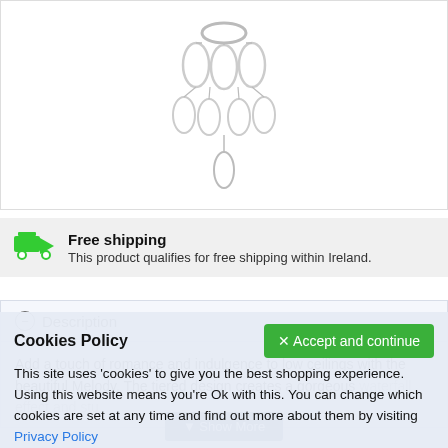[Figure (photo): Silver tiered chandelier earring or pendant with oval crystal drops arranged in a waterfall style, shown on white background]
Free shipping
This product qualifies for free shipping within Ireland.
Description
Add a touch of romance and indulgence to low ceilings with the beautiful Melody. The tiered design creates a gorgeous waterfall effect and stu...
▼ Show More
Cookies Policy
This site uses 'cookies' to give you the best shopping experience. Using this website means you're Ok with this. You can change which cookies are set at any time and find out more about them by visiting Privacy Policy